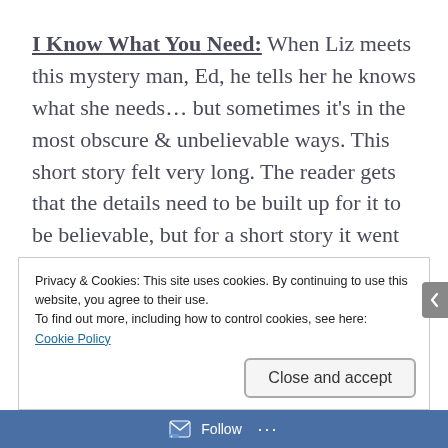I Know What You Need: When Liz meets this mystery man, Ed, he tells her he knows what she needs… but sometimes it's in the most obscure & unbelievable ways. This short story felt very long. The reader gets that the details need to be built up for it to be believable, but for a short story it went on too long & lost the reader's interest. Otherwise, it was a good concept for a story.
Privacy & Cookies: This site uses cookies. By continuing to use this website, you agree to their use.
To find out more, including how to control cookies, see here: Cookie Policy
Close and accept
Follow